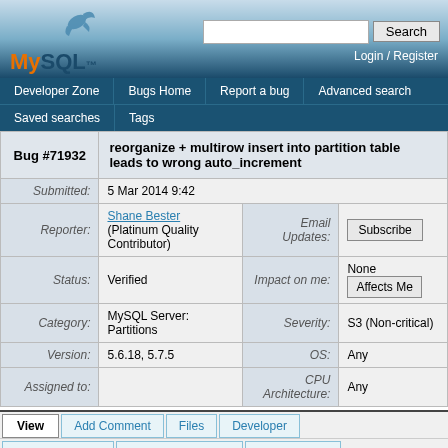MySQL Bug Tracker - Bug #71932
reorganize + multirow insert into partition table leads to wrong auto_increment
| Field | Value | Field2 | Value2 |
| --- | --- | --- | --- |
| Bug #71932 | reorganize + multirow insert into partition table leads to wrong auto_increment |  |  |
| Submitted: | 5 Mar 2014 9:42 |  |  |
| Reporter: | Shane Bester (Platinum Quality Contributor) | Email Updates: | Subscribe |
| Status: | Verified | Impact on me: | None / Affects Me |
| Category: | MySQL Server: Partitions | Severity: | S3 (Non-critical) |
| Version: | 5.6.18, 5.7.5 | OS: | Any |
| Assigned to: |  | CPU Architecture: | Any |
View | Add Comment | Files | Developer | Edit Submission | View Progress Log | Contributions